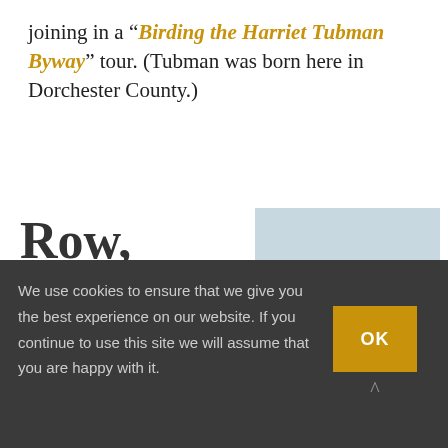joining in a “Birding the Harriet Tubman Byway” tour. (Tubman was born here in Dorchester County.)
Row, row, row your
[Figure (photo): A man and child paddling a red kayak on a river, both wearing yellow life jackets. The man is smiling and holding a paddle, with green trees and water in the background.]
We use cookies to ensure that we give you the best experience on our website. If you continue to use this site we will assume that you are happy with it.